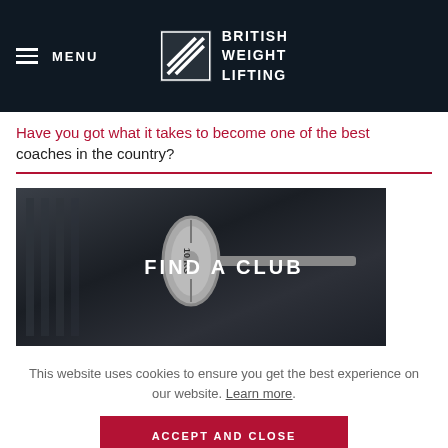MENU | BRITISH WEIGHT LIFTING
Have you got what it takes to become one of the best coaches in the country?
[Figure (photo): Black and white photo of a 10KG barbell weight plate in a gym setting with the text FIND A CLUB overlaid in white capital letters]
This website uses cookies to ensure you get the best experience on our website. Learn more.
ACCEPT AND CLOSE